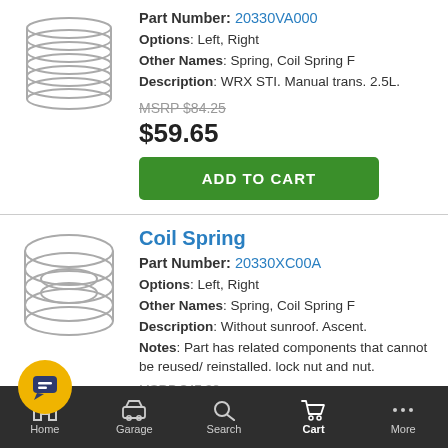[Figure (illustration): Coil spring product image for part 20330VA000]
Part Number: 20330VA000
Options: Left, Right
Other Names: Spring, Coil Spring F
Description: WRX STI. Manual trans. 2.5L.
MSRP $84.25
$59.65
ADD TO CART
[Figure (illustration): Coil spring product image for part 20330XC00A]
Coil Spring
Part Number: 20330XC00A
Options: Left, Right
Other Names: Spring, Coil Spring F
Description: Without sunroof. Ascent.
Notes: Part has related components that cannot be reused/ reinstalled. lock nut and nut.
MSRP $47.38
Home  Garage  Search  Cart  More